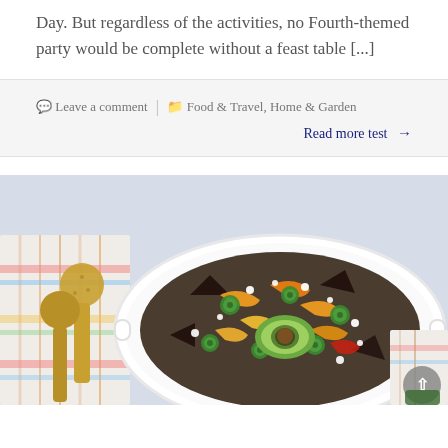Day. But regardless of the activities, no Fourth-themed party would be complete without a feast table [...]
Leave a comment | Food & Travel, Home & Garden
Read more test →
[Figure (photo): A white oval serving dish filled with nachos topped with black beans, sliced jalapeños, yellow and orange bell pepper strips, avocado half, and crumbled white cheese. Gold serving spoons and a patterned cloth napkin are visible on the left side.]